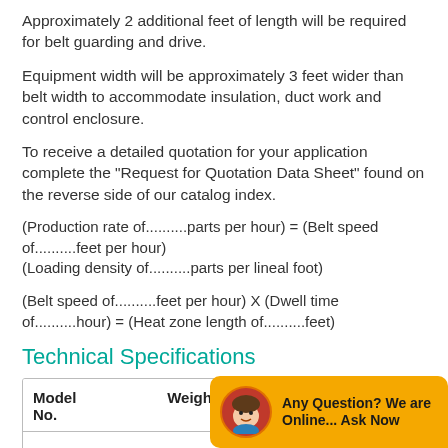Approximately 2 additional feet of length will be required for belt guarding and drive.
Equipment width will be approximately 3 feet wider than belt width to accommodate insulation, duct work and control enclosure.
To receive a detailed quotation for your application complete the "Request for Quotation Data Sheet" found on the reverse side of our catalog index.
Technical Specifications
| Model No. | Weight | Burner |
| --- | --- | --- |